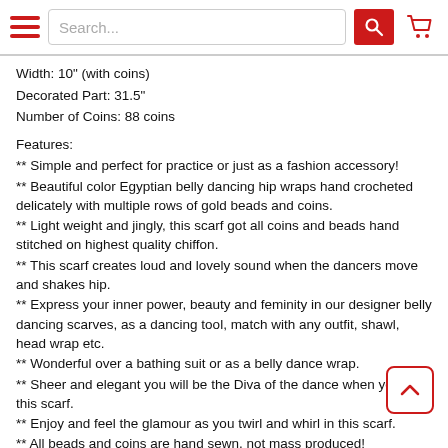Search... [search button] [cart icon]
Width: 10" (with coins)
Decorated Part: 31.5"
Number of Coins: 88 coins
Features:
** Simple and perfect for practice or just as a fashion accessory!
** Beautiful color Egyptian belly dancing hip wraps hand crocheted delicately with multiple rows of gold beads and coins.
** Light weight and jingly, this scarf got all coins and beads hand stitched on highest quality chiffon.
** This scarf creates loud and lovely sound when the dancers move and shakes hip.
** Express your inner power, beauty and feminity in our designer belly dancing scarves, as a dancing tool, match with any outfit, shawl, head wrap etc.
** Wonderful over a bathing suit or as a belly dance wrap.
** Sheer and elegant you will be the Diva of the dance when you don this scarf.
** Enjoy and feel the glamour as you twirl and whirl in this scarf.
** All beads and coins are hand sewn, not mass produced!